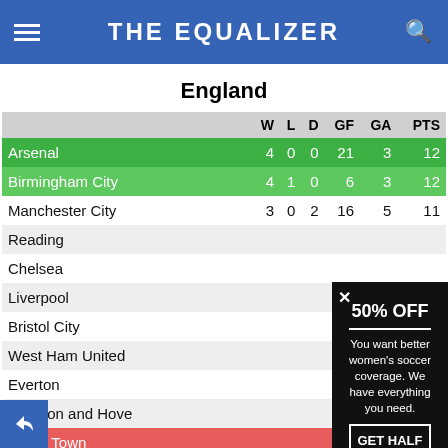THE EQUALIZER
England
|  | W | L | D | GF | GA | PTS |
| --- | --- | --- | --- | --- | --- | --- |
| Arsenal | 4 | 0 | 0 | 21 | 3 | 12 |
| Birmingham City | 4 | 1 | 0 | 6 | 3 | 12 |
| Manchester City | 3 | 0 | 2 | 16 | 5 | 11 |
| Reading |  |  |  |  |  |  |
| Chelsea |  |  |  |  |  |  |
| Liverpool |  |  |  |  |  |  |
| Bristol City |  |  |  |  |  |  |
| West Ham United |  |  |  |  |  |  |
| Everton |  |  |  |  |  |  |
| Brighton and Hove |  |  |  |  |  |  |
| Yeovil Town |  |  |  |  |  |  |
50% OFF
You want better women's soccer coverage. We have everything you need.
GET HALF OFF